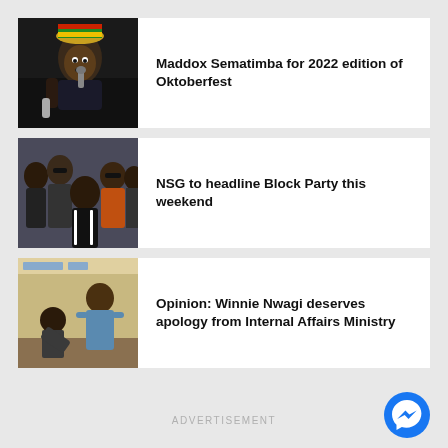[Figure (photo): Man singing with microphone, wearing a colorful hat with red, yellow, green stripes and dark jacket]
Maddox Sematimba for 2022 edition of Oktoberfest
[Figure (photo): Group of young people posing together, some wearing sunglasses]
NSG to headline Block Party this weekend
[Figure (photo): Men near a wall, one bending over, indoor setting with light-colored wall]
Opinion: Winnie Nwagi deserves apology from Internal Affairs Ministry
ADVERTISEMENT